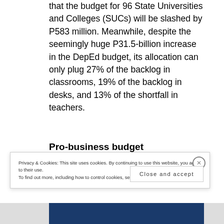that the budget for 96 State Universities and Colleges (SUCs) will be slashed by P583 million. Meanwhile, despite the seemingly huge P31.5-billion increase in the DepEd budget, its allocation can only plug 27% of the backlog in classrooms, 19% of the backlog in desks, and 13% of the shortfall in teachers.
Pro-business budget
Privacy & Cookies: This site uses cookies. By continuing to use this website, you agree to their use.
To find out more, including how to control cookies, see here: Cookie Policy